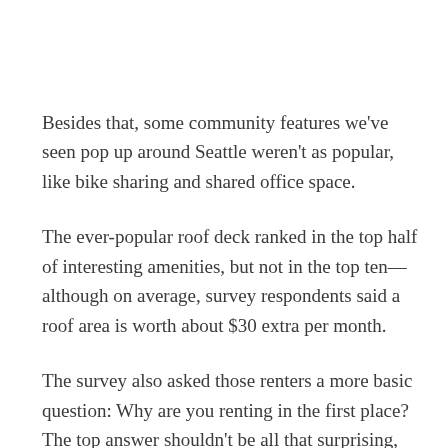Besides that, some community features we've seen pop up around Seattle weren't as popular, like bike sharing and shared office space.
The ever-popular roof deck ranked in the top half of interesting amenities, but not in the top ten—although on average, survey respondents said a roof area is worth about $30 extra per month.
The survey also asked those renters a more basic question: Why are you renting in the first place? The top answer shouldn't be all that surprising, with 22 percent